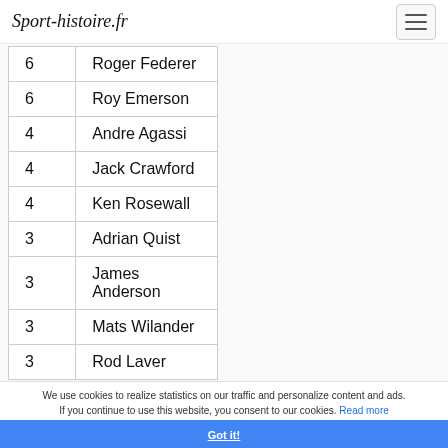Sport-histoire.fr
| 6 | Roger Federer |
| 6 | Roy Emerson |
| 4 | Andre Agassi |
| 4 | Jack Crawford |
| 4 | Ken Rosewall |
| 3 | Adrian Quist |
| 3 | James Anderson |
| 3 | Mats Wilander |
| 3 | Rod Laver |
We use cookies to realize statistics on our traffic and personalize content and ads. If you continue to use this website, you consent to our cookies. Read more
Got it!